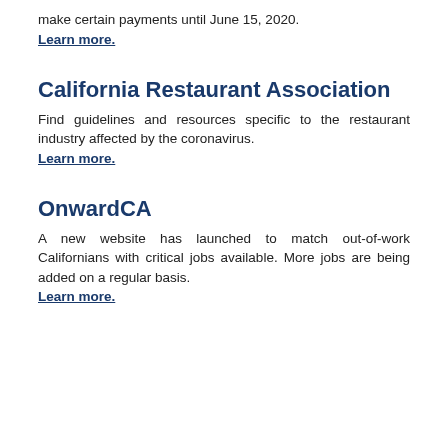make certain payments until June 15, 2020. Learn more.
California Restaurant Association
Find guidelines and resources specific to the restaurant industry affected by the coronavirus. Learn more.
OnwardCA
A new website has launched to match out-of-work Californians with critical jobs available. More jobs are being added on a regular basis. Learn more.